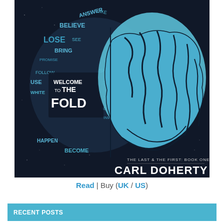[Figure (illustration): Book cover for 'Welcome to the Fold' by Carl Doherty. Dark navy/black background with a stylized split brain: left half made of word-cloud typography in blue tones (words: ANSWER, BELIEVE, LOSE, BRING, PROMISE, FOLLOW, USE, WHITE, HAPPEN, BECOME, LEARN, OPEN, IGNORE, SHALL MAKE, FEEL), center has bold white text 'WELCOME TO THE FOLD', right half is a detailed anatomical brain illustration in light blue. Bottom right text: 'THE LAST & THE FIRST: BOOK ONE' and 'CARL DOHERTY'.]
Read | Buy (UK / US)
RECENT POSTS